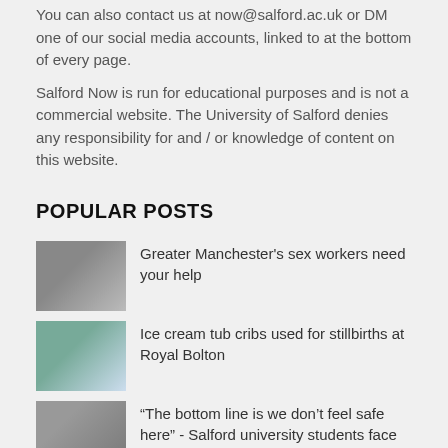You can also contact us at now@salford.ac.uk or DM one of our social media accounts, linked to at the bottom of every page.
Salford Now is run for educational purposes and is not a commercial website. The University of Salford denies any responsibility for and / or knowledge of content on this website.
POPULAR POSTS
Greater Manchester's sex workers need your help
Ice cream tub cribs used for stillbirths at Royal Bolton
“The bottom line is we don’t feel safe here” - Salford university students face harassment and thefts from balaclava wearing bikers
OnlyFans content creator using explicit images to fund studies at Salford University
New uniform rules to be implemented cross three